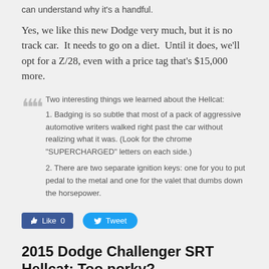can understand why it's a handful.
Yes, we like this new Dodge very much, but it is no track car.  It needs to go on a diet.  Until it does, we'll opt for a Z/28, even with a price tag that's $15,000 more.
Two interesting things we learned about the Hellcat:
1. Badging is so subtle that most of a pack of aggressive automotive writers walked right past the car without realizing what it was. (Look for the chrome "SUPERCHARGED" letters on each side.)
2. There are two separate ignition keys: one for you to put pedal to the metal and one for the valet that dumbs down the horsepower.
Like 0  Tweet
2015 Dodge Challenger SRT Hellcat: Too porky?
9/15/2014
[Figure (photo): Photo of a 2015 Dodge Challenger SRT Hellcat car, partially visible from above/front angle]